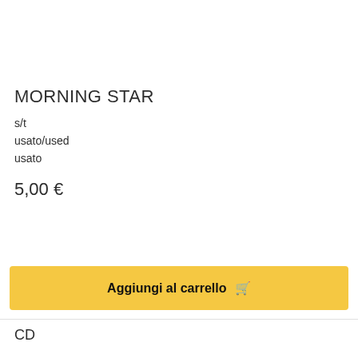MORNING STAR
s/t
usato/used
usato
5,00 €
Aggiungi al carrello 🛒
CD